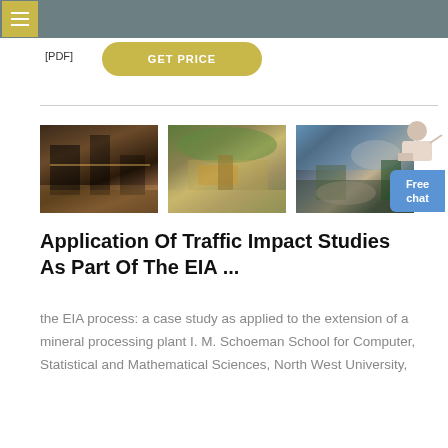[PDF] GET PRICE
[Figure (photo): Three photos of mining/mineral processing sites: industrial machinery, open-pit quarry equipment, and stone crushing plant with dust]
Application Of Traffic Impact Studies As Part Of The EIA ...
the EIA process: a case study as applied to the extension of a mineral processing plant I. M. Schoeman School for Computer, Statistical and Mathematical Sciences, North West University,